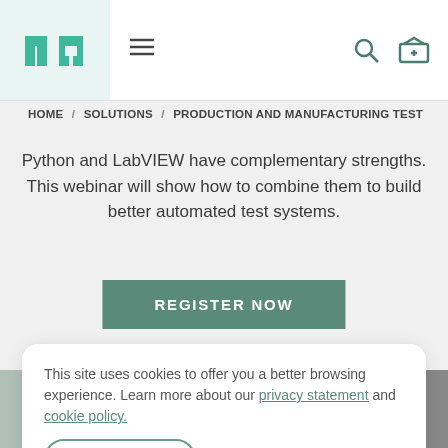[Figure (logo): NI (National Instruments) logo — stylized 'ni' in teal on light green background]
HOME / SOLUTIONS / PRODUCTION AND MANUFACTURING TEST
Python and LabVIEW have complementary strengths. This webinar will show how to combine them to build better automated test systems.
REGISTER NOW
This site uses cookies to offer you a better browsing experience. Learn more about our privacy statement and cookie policy.
Yes, I accept